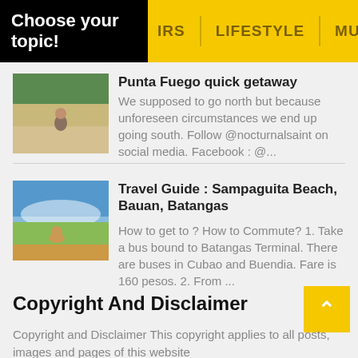Choose your topic! | IRS | LIFESTYLE | MUSIC
Punta Fuego quick getaway
We supposed to go north but because unforeseen circumstances we end up going south.   Follow @nocturnalsaint on social media.  Facebook : @...
Travel Guide : Sampaguita Beach, Bauan, Batangas
How to get to ? How to Commute? 1. Take a bus bound to Batangas Terminal. There are buses in Cubao and Buendia. Fare is 160 pesos. 2. From ...
Copyright And Disclaimer
Copyright and Disclaimer This copyright applies to all posts, images and pages of this website